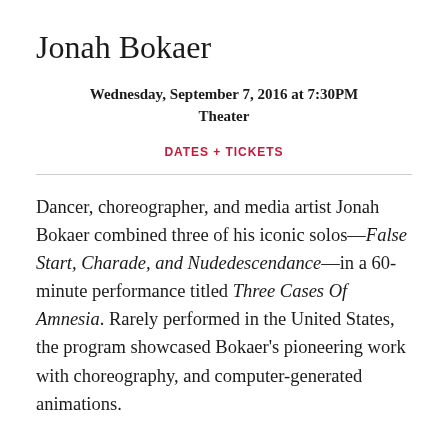Jonah Bokaer
Wednesday, September 7, 2016 at 7:30PM
Theater
DATES + TICKETS
Dancer, choreographer, and media artist Jonah Bokaer combined three of his iconic solos—False Start, Charade, and Nudedescendance—in a 60-minute performance titled Three Cases Of Amnesia. Rarely performed in the United States, the program showcased Bokaer's pioneering work with choreography, and computer-generated animations.